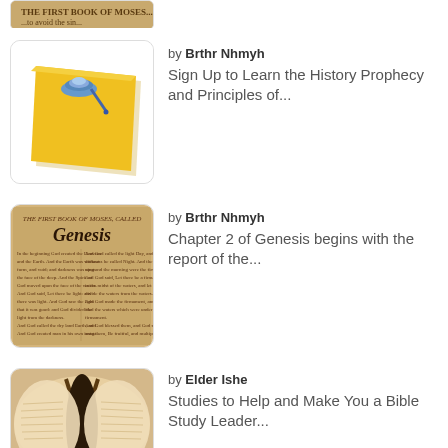[Figure (illustration): Partial top image showing Bible text clipped at top]
by Brthr Nhmyh
Sign Up to Learn the History Prophecy and Principles of...
[Figure (illustration): Yellow sticky note with blue thumbtack pin]
by Brthr Nhmyh
Chapter 2 of Genesis begins with the report of the...
[Figure (illustration): Open Bible page showing THE FIRST BOOK OF MOSES, CALLED Genesis]
by Elder Ishe
Studies to Help and Make You a Bible Study Leader...
[Figure (photo): Photo of open Bible book from above, partial]